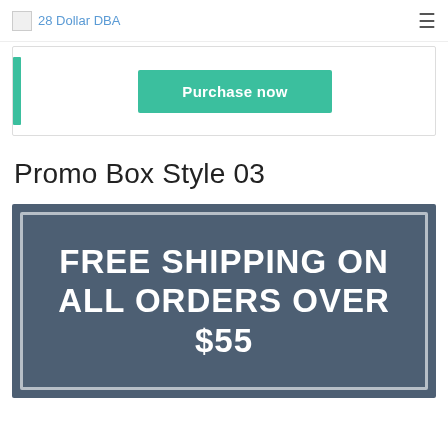28 Dollar DBA
[Figure (other): Purchase now button with green left bar accent inside a card]
Promo Box Style 03
[Figure (infographic): Dark blue-grey promotional box with white border and text: FREE SHIPPING ON ALL ORDERS OVER $55]